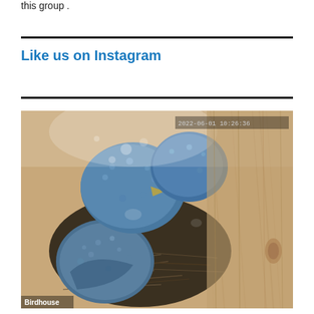this group .
Like us on Instagram
[Figure (photo): Camera/surveillance photo of baby birds (nestlings) in a nest inside a birdhouse. The birds appear to be bluebirds with blue downy feathers. A timestamp overlay appears in the upper right corner reading '2022-06-01 10:26:36'. A 'Birdhouse' label appears in the lower left corner.]